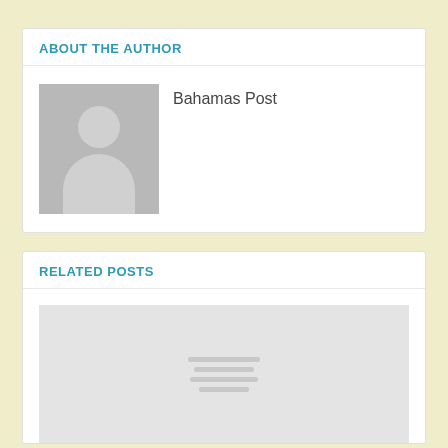ABOUT THE AUTHOR
[Figure (illustration): Generic user avatar placeholder silhouette icon in gray]
Bahamas Post
RELATED POSTS
[Figure (photo): Gray image placeholder with four horizontal lines in center]